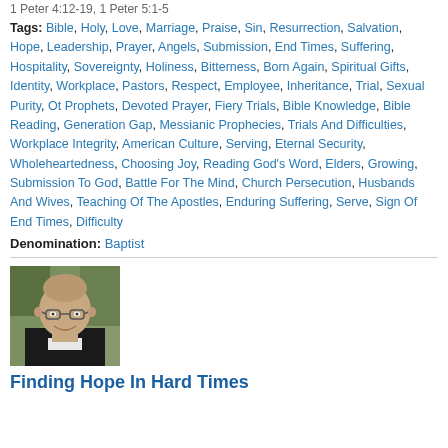1 Peter 4:12-19, 1 Peter 5:1-5
Tags: Bible, Holy, Love, Marriage, Praise, Sin, Resurrection, Salvation, Hope, Leadership, Prayer, Angels, Submission, End Times, Suffering, Hospitality, Sovereignty, Holiness, Bitterness, Born Again, Spiritual Gifts, Identity, Workplace, Pastors, Respect, Employee, Inheritance, Trial, Sexual Purity, Ot Prophets, Devoted Prayer, Fiery Trials, Bible Knowledge, Bible Reading, Generation Gap, Messianic Prophecies, Trials And Difficulties, Workplace Integrity, American Culture, Serving, Eternal Security, Wholeheartedness, Choosing Joy, Reading God's Word, Elders, Growing, Submission To God, Battle For The Mind, Church Persecution, Husbands And Wives, Teaching Of The Apostles, Enduring Suffering, Serve, Sign Of End Times, Difficulty
Denomination: Baptist
[Figure (photo): Headshot photo of a bald man wearing glasses and a dark shirt, smiling, with green foliage in the background]
Finding Hope In Hard Times